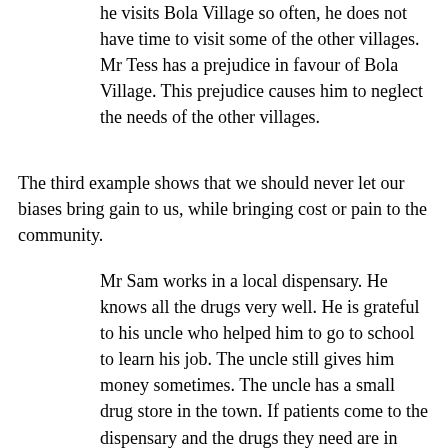he visits Bola Village so often, he does not have time to visit some of the other villages. Mr Tess has a prejudice in favour of Bola Village. This prejudice causes him to neglect the needs of the other villages.
The third example shows that we should never let our biases bring gain to us, while bringing cost or pain to the community.
Mr Sam works in a local dispensary. He knows all the drugs very well. He is grateful to his uncle who helped him to go to school to learn his job. The uncle still gives him money sometimes. The uncle has a small drug store in the town. If patients come to the dispensary and the drugs they need are in short supply, Mr Sam will sometimes tell them to go to town to buy the drug in his uncle's store rather than try to get the drug for them. This will cost the patients more money.